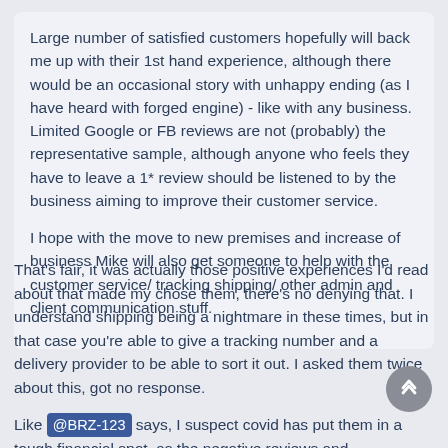Large number of satisfied customers hopefully will back me up with their 1st hand experience, although there would be an occasional story with unhappy ending (as I have heard with forged engine) - like with any business. Limited Google or FB reviews are not (probably) the representative sample, although anyone who feels they have to leave a 1* review should be listened to by the business aiming to improve their customer service.

I hope with the move to new premises and increase of business Mike will also get someone to help with the customer service/ tracking shipping/ other admin and client communication stuff.
That's fair, it was actually those positive experiences I'd read about that made my chose them, there's no denying that. I understand shipping being a nightmare in these times, but in that case you're able to give a tracking number and a delivery provider to be able to sort it out. I asked them twice about this, got no response.

Like @BRZ-123 says, I suspect covid has put them in a tough financial spot, as the negative reviews and experiences seem to have started in